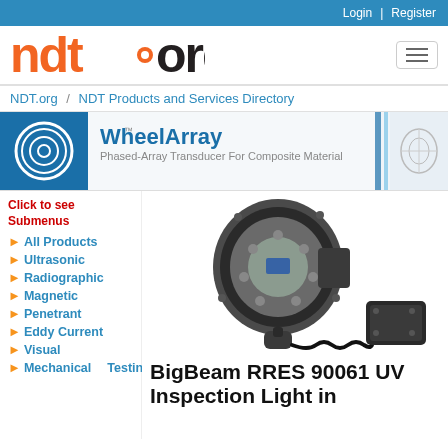Login | Register
[Figure (logo): ndt.org logo in orange and black with circular dot icon]
NDT.org / NDT Products and Services Directory
[Figure (illustration): WheelArray phased-array transducer for composite material banner advertisement with logo and product image]
Click to see Submenus
All Products
Ultrasonic
Radiographic
Magnetic
Penetrant
Eddy Current
Visual
Mechanical Testing
[Figure (photo): BigBeam RRES 90061 UV inspection light handheld device with coiled cable and battery pack]
BigBeam RRES 90061 UV Inspection Light in